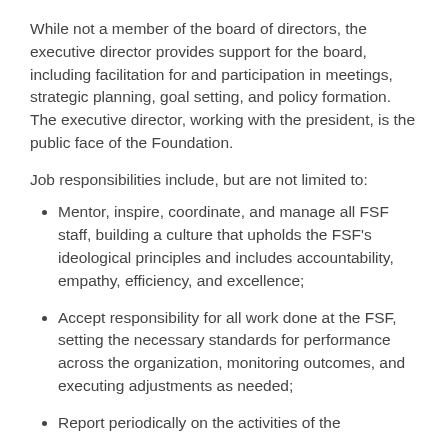While not a member of the board of directors, the executive director provides support for the board, including facilitation for and participation in meetings, strategic planning, goal setting, and policy formation. The executive director, working with the president, is the public face of the Foundation.
Job responsibilities include, but are not limited to:
Mentor, inspire, coordinate, and manage all FSF staff, building a culture that upholds the FSF's ideological principles and includes accountability, empathy, efficiency, and excellence;
Accept responsibility for all work done at the FSF, setting the necessary standards for performance across the organization, monitoring outcomes, and executing adjustments as needed;
Report periodically on the activities of the